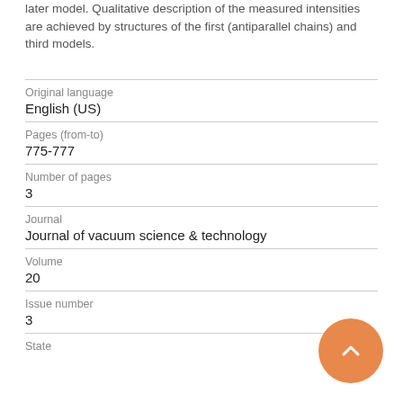later model. Qualitative description of the measured intensities are achieved by structures of the first (antiparallel chains) and third models.
| Original language | English (US) |
| Pages (from-to) | 775-777 |
| Number of pages | 3 |
| Journal | Journal of vacuum science & technology |
| Volume | 20 |
| Issue number | 3 |
| State |  |